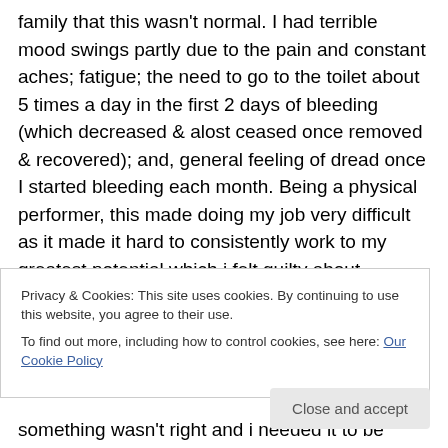family that this wasn't normal. I had terrible mood swings partly due to the pain and constant aches; fatigue; the need to go to the toilet about 5 times a day in the first 2 days of bleeding (which decreased & alost ceased once removed & recovered); and, general feeling of dread once I started bleeding each month. Being a physical performer, this made doing my job very difficult as it made it hard to consistently work to my greatest potential which i felt guilty about sometimes. I just had to push through it as i was
Privacy & Cookies: This site uses cookies. By continuing to use this website, you agree to their use.
To find out more, including how to control cookies, see here: Our Cookie Policy
something wasn't right and i needed it to be